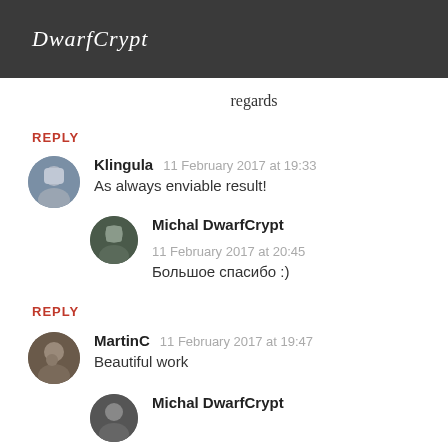DwarfCrypt
regards
REPLY
Klingula   11 February 2017 at 19:33
As always enviable result!
Michal DwarfCrypt   11 February 2017 at 20:45
Большое спасибо :)
REPLY
MartinC   11 February 2017 at 19:47
Beautiful work
Michal DwarfCrypt